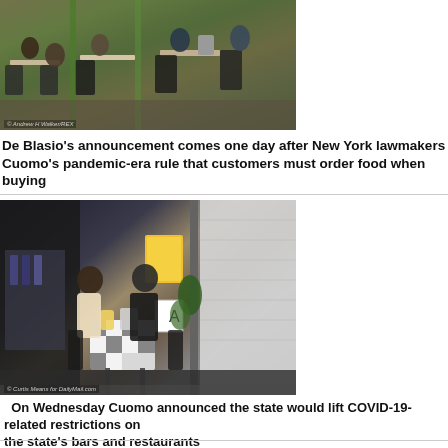[Figure (photo): Outdoor restaurant/bar scene with people sitting at tables, green poles visible, daytime]
De Blasio's announcement comes one day after New York lawmakers voted to repeal Gov. Cuomo's pandemic-era rule that customers must order food when buying alcohol
[Figure (photo): A couple eating at an outdoor table in front of a restaurant entrance with a yellow sign and health grade A posted]
On Wednesday Cuomo announced the state would lift COVID-19-related restrictions on the state's bars and restaurants